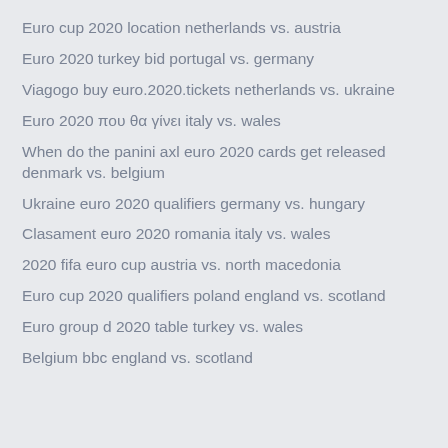Euro cup 2020 location netherlands vs. austria
Euro 2020 turkey bid portugal vs. germany
Viagogo buy euro.2020.tickets netherlands vs. ukraine
Euro 2020 που θα γίνει italy vs. wales
When do the panini axl euro 2020 cards get released denmark vs. belgium
Ukraine euro 2020 qualifiers germany vs. hungary
Clasament euro 2020 romania italy vs. wales
2020 fifa euro cup austria vs. north macedonia
Euro cup 2020 qualifiers poland england vs. scotland
Euro group d 2020 table turkey vs. wales
Belgium bbc england vs. scotland